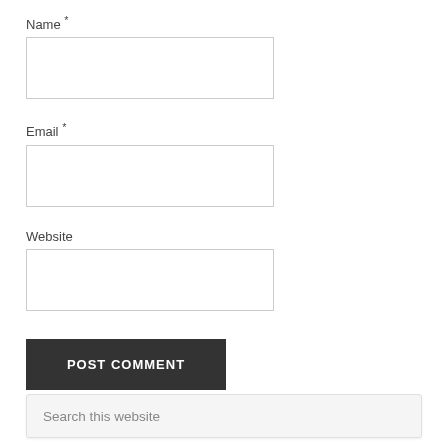Name *
Email *
Website
POST COMMENT
Search this website